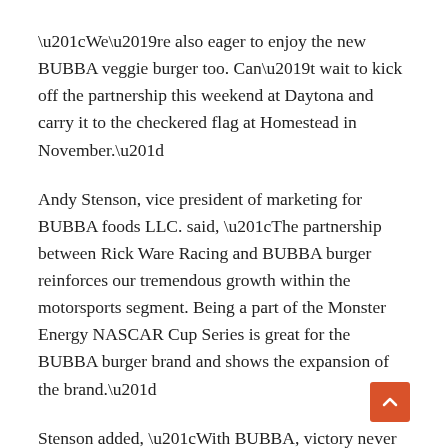“We’re also eager to enjoy the new BUBBA veggie burger too. Can’t wait to kick off the partnership this weekend at Daytona and carry it to the checkered flag at Homestead in November.”
Andy Stenson, vice president of marketing for BUBBA foods LLC. said, “The partnership between Rick Ware Racing and BUBBA burger reinforces our tremendous growth within the motorsports segment. Being a part of the Monster Energy NASCAR Cup Series is great for the BUBBA burger brand and shows the expansion of the brand.”
Stenson added, “With BUBBA, victory never tasted so good!”